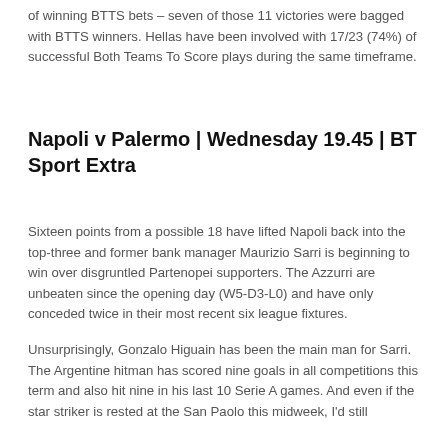of winning BTTS bets – seven of those 11 victories were bagged with BTTS winners. Hellas have been involved with 17/23 (74%) of successful Both Teams To Score plays during the same timeframe.
Napoli v Palermo | Wednesday 19.45 | BT Sport Extra
Sixteen points from a possible 18 have lifted Napoli back into the top-three and former bank manager Maurizio Sarri is beginning to win over disgruntled Partenopei supporters. The Azzurri are unbeaten since the opening day (W5-D3-L0) and have only conceded twice in their most recent six league fixtures.
Unsurprisingly, Gonzalo Higuain has been the main man for Sarri. The Argentine hitman has scored nine goals in all competitions this term and also hit nine in his last 10 Serie A games. And even if the star striker is rested at the San Paolo this midweek, I'd still